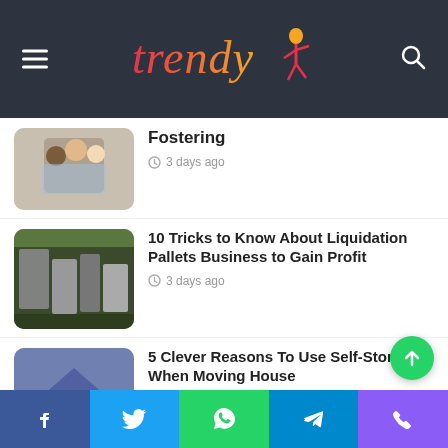Trendy
Fostering
3 days ago
10 Tricks to Know About Liquidation Pallets Business to Gain Profit
3 days ago
5 Clever Reasons To Use Self-Storage When Moving House
3 days ago
The 3 Essentials To Running An Efficient Fulfillment Center
4 days ago